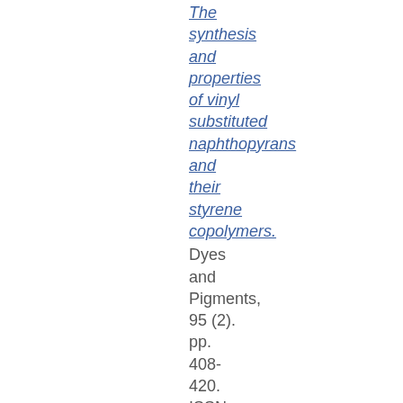The synthesis and properties of vinyl substituted naphthopyrans and their styrene copolymers.
Dyes and Pigments, 95 (2). pp. 408-420. ISSN 0143-7208